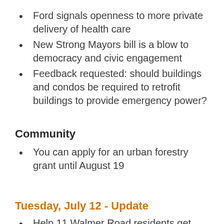Ford signals openness to more private delivery of health care
New Strong Mayors bill is a blow to democracy and civic engagement
Feedback requested: should buildings and condos be required to retrofit buildings to provide emergency power?
Community
You can apply for an urban forestry grant until August 19
Tuesday, July 12 - Update
Help 11 Walmer Road residents get back